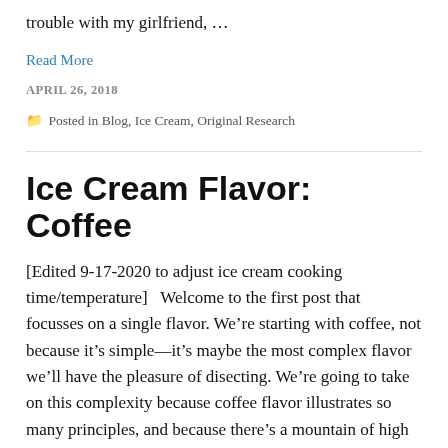trouble with my girlfriend, …
Read More
APRIL 26, 2018
Posted in Blog, Ice Cream, Original Research
Ice Cream Flavor: Coffee
[Edited 9-17-2020 to adjust ice cream cooking time/temperature]   Welcome to the first post that focusses on a single flavor. We're starting with coffee, not because it's simple—it's maybe the most complex flavor we'll have the pleasure of disecting. We're going to take on this complexity because coffee flavor illustrates so many principles, and because there's a mountain of high ...